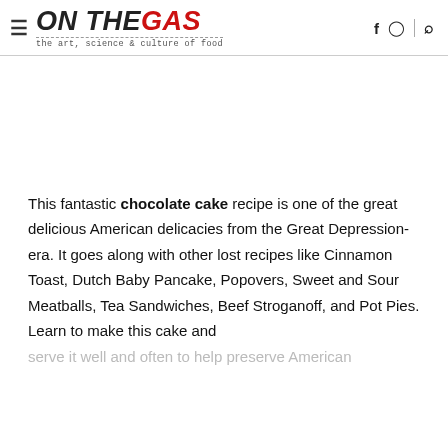ON THE GAS — the art, science & culture of food
This fantastic chocolate cake recipe is one of the great delicious American delicacies from the Great Depression-era. It goes along with other lost recipes like Cinnamon Toast, Dutch Baby Pancake, Popovers, Sweet and Sour Meatballs, Tea Sandwiches, Beef Stroganoff, and Pot Pies. Learn to make this cake and serve it well and often to help preserve American